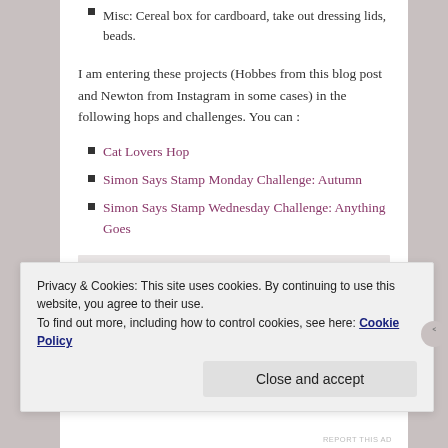Misc: Cereal box for cardboard, take out dressing lids, beads.
I am entering these projects (Hobbes from this blog post and Newton from Instagram in some cases) in the following hops and challenges. You can :
Cat Lovers Hop
Simon Says Stamp Monday Challenge: Autumn
Simon Says Stamp Wednesday Challenge: Anything Goes
Privacy & Cookies: This site uses cookies. By continuing to use this website, you agree to their use.
To find out more, including how to control cookies, see here: Cookie Policy
Close and accept